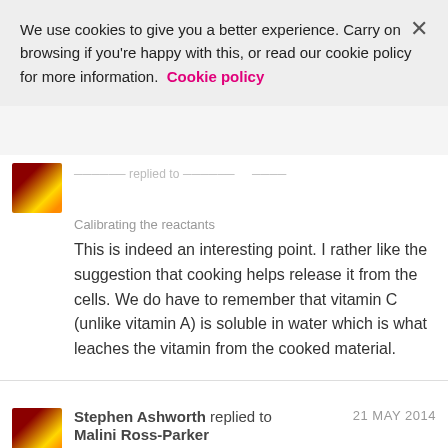We use cookies to give you a better experience. Carry on browsing if you're happy with this, or read our cookie policy for more information.  Cookie policy
Calibrating the reactants
This is indeed an interesting point. I rather like the suggestion that cooking helps release it from the cells. We do have to remember that vitamin C (unlike vitamin A) is soluble in water which is what leaches the vitamin from the cooked material.
Stephen Ashworth replied to Malini Ross-Parker  21 MAY 2014
Vitamin C
It does indeed.